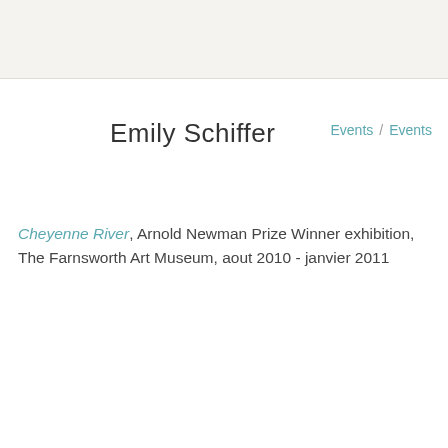Emily Schiffer
Events / Events
Cheyenne River, Arnold Newman Prize Winner exhibition, The Farnsworth Art Museum, aout 2010 - janvier 2011